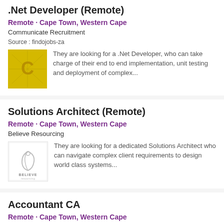.Net Developer (Remote)
Remote · Cape Town, Western Cape
Communicate Recruitment
Source : findojobs-za
[Figure (logo): Communicate Recruitment yellow logo with C letter]
They are looking for a .Net Developer, who can take charge of their end to end implementation, unit testing and deployment of complex...
Solutions Architect (Remote)
Remote · Cape Town, Western Cape
Believe Resourcing
[Figure (logo): Believe Resourcing logo with swirl and text]
They are looking for a dedicated Solutions Architect who can navigate complex client requirements to design world class systems...
Accountant CA
Remote · Cape Town, Western Cape
Armstrong Appointments